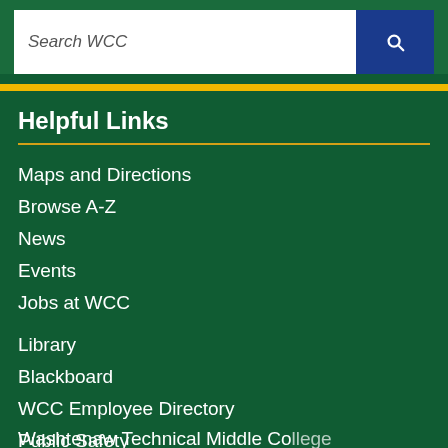Search WCC
Helpful Links
Maps and Directions
Browse A-Z
News
Events
Jobs at WCC
Library
Blackboard
WCC Employee Directory
Public Safety
Washtenaw Technical Middle College